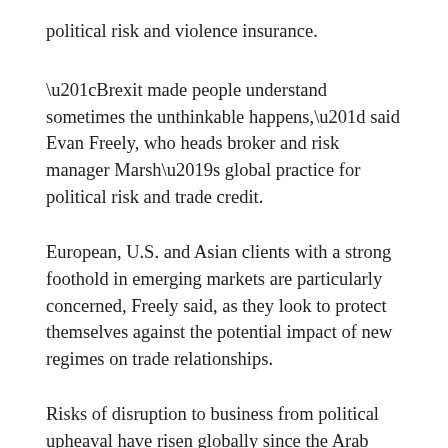political risk and violence insurance.
“Brexit made people understand sometimes the unthinkable happens,” said Evan Freely, who heads broker and risk manager Marsh’s global practice for political risk and trade credit.
European, U.S. and Asian clients with a strong foothold in emerging markets are particularly concerned, Freely said, as they look to protect themselves against the potential impact of new regimes on trade relationships.
Risks of disruption to business from political upheaval have risen globally since the Arab Spring uprisings of